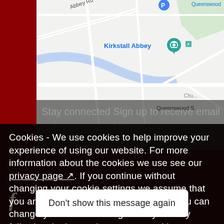[Figure (map): Google Maps screenshot showing Kirkstall Abbey area with roads including Abbey Rd, teal location pin for Kirkstall Abbey with camera icon, parking pin, and Queenswood label. Lower portion darkened.]
Cookies - We use cookies to help improve your experience of using our website. For more information about the cookies we use see our privacy page. If you continue without changing your cookie settings we assume that you are happy with our use of cookies. You can change your cookie settings at any time by following the instructions on our cookies page.
Don't show this message again